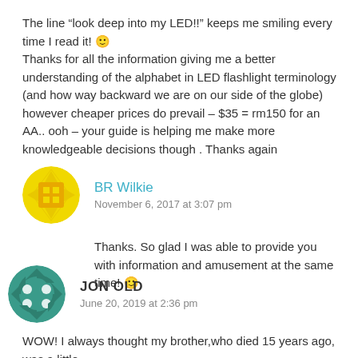The line “look deep into my LED!!” keeps me smiling every time I read it! 🙂 Thanks for all the information giving me a better understanding of the alphabet in LED flashlight terminology (and how way backward we are on our side of the globe) however cheaper prices do prevail – $35 = rm150 for an AA.. ooh – your guide is helping me make more knowledgeable decisions though . Thanks again
BR Wilkie
November 6, 2017 at 3:07 pm
Thanks. So glad I was able to provide you with information and amusement at the same time! 🙂
JON OLD
June 20, 2019 at 2:36 pm
WOW! I always thought my brother,who died 15 years ago, was a little